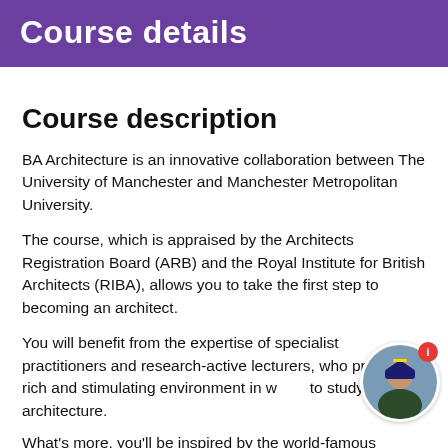Course details
Course description
BA Architecture is an innovative collaboration between The University of Manchester and Manchester Metropolitan University.
The course, which is appraised by the Architects Registration Board (ARB) and the Royal Institute for British Architects (RIBA), allows you to take the first step to becoming an architect.
You will benefit from the expertise of specialist practitioners and research-active lecturers, who provide a rich and stimulating environment in which to study architecture.
What's more, you'll be inspired by the world-famous